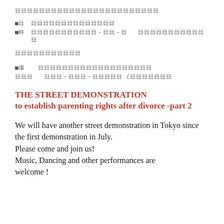■日　　日日日日日日日日日日日日日日日
■時　　日日日日日日日日日－日日－日　　日日日日日日日日日日日日
日日日日日日日日日日日
■場　　　　日日日日日日日日日日日日日日日日日日日
日日日　　日日日－日日日－日日日日日 (日日日日日日日
THE STREET DEMONSTRATION
to establish parenting rights after divorce -part 2
We will have another street demonstration in Tokyo since
the first demonstration in July.
Please come and join us!
Music, Dancing and other performances are welcome !